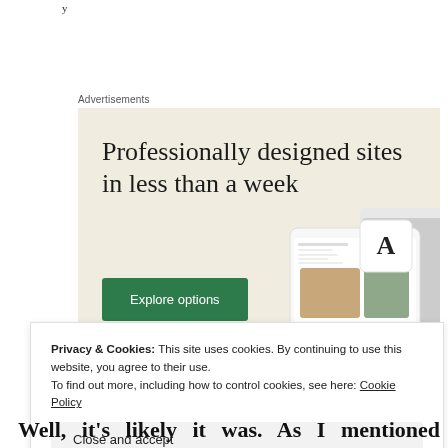y
Advertisements
[Figure (illustration): Advertisement banner with beige background showing 'Professionally designed sites in less than a week' headline with a green 'Explore options' button and website mockup screenshots on the right side.]
Privacy & Cookies: This site uses cookies. By continuing to use this website, you agree to their use.
To find out more, including how to control cookies, see here: Cookie Policy
Close and accept
Well, it's likely it was. As I mentioned earlier, the